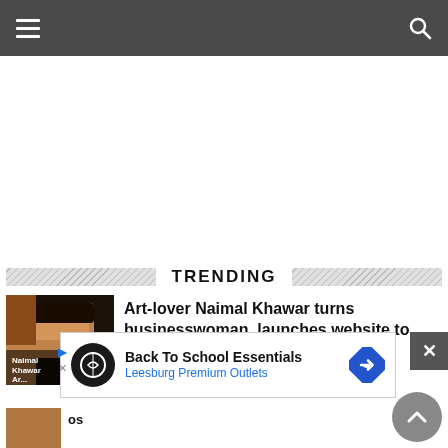Navigation bar with hamburger menu and search icon
TRENDING
[Figure (photo): Portrait photo of Naimal Khawar with text overlay showing her name]
Art-lover Naimal Khawar turns businesswoman, launches website to
[Figure (infographic): Advertisement: Back To School Essentials - Leesburg Premium Outlets with logo and navigation arrow icon]